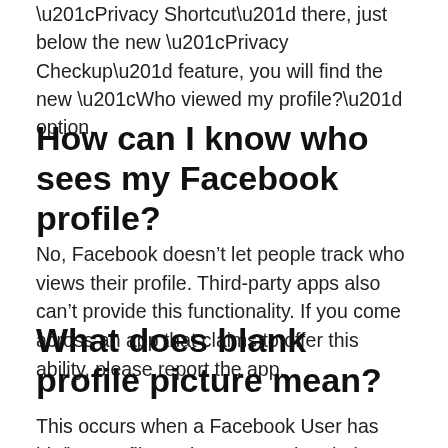“Privacy Shortcut” there, just below the new “Privacy Checkup” feature, you will find the new “Who viewed my profile?” option.
How can I know who sees my Facebook profile?
No, Facebook doesn’t let people track who views their profile. Third-party apps also can’t provide this functionality. If you come across an app that claims to offer this ability, please report the app.
What does blank profile picture mean?
This occurs when a Facebook User has his/her profile settings set so that their